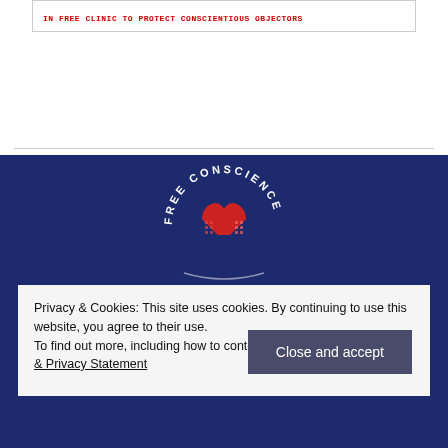IN FREE CLINIC TO PROTECT CONSCIENTIOUS OBJECTORS
[Figure (logo): Free Conscience logo with red bandage heart and circular text reading FREE CONSCIENCE on dark blue background]
Privacy & Cookies: This site uses cookies. By continuing to use this website, you agree to their use.
To find out more, including how to control cookies, see here: Cookie & Privacy Statement